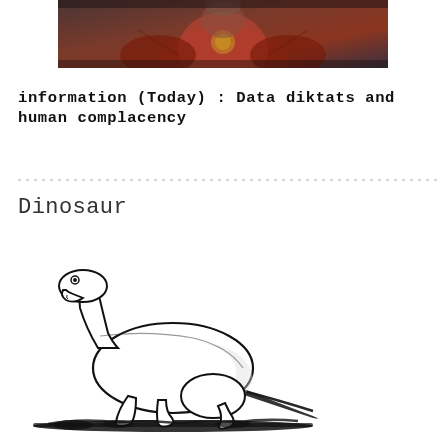[Figure (photo): Partial photo of a person in red/orange traditional or ceremonial costume with decorative elements, cropped at top and bottom edges]
INFORMATION (Today): Data diktats and human complacency
Dinosaur
[Figure (illustration): Black and white line drawing/sketch of a dinosaur (resembling a sauropod or plesiosaur-type creature) in a resting or crawling position on the ground, facing left with mouth open]